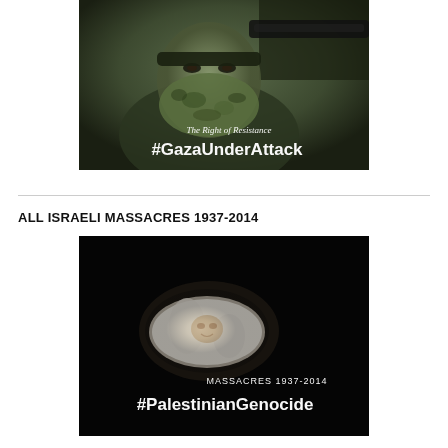[Figure (photo): Photo of a masked person in camouflage gear holding a weapon, with overlaid text: 'The Right of Resistance' and '#GazaUnderAttack']
ALL ISRAELI MASSACRES 1937-2014
[Figure (photo): Dark image of a wrapped infant on black background, with overlaid text: 'MASSACRES 1937-2014' and '#PalestinianGenocide']